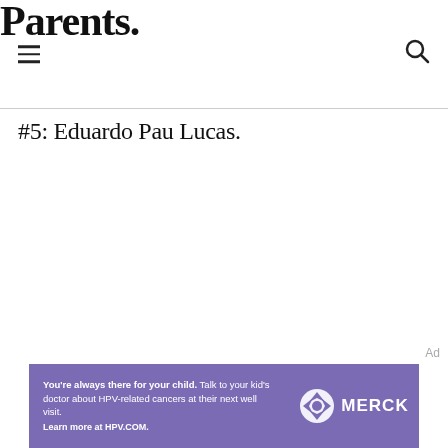Parents.
#5: Eduardo Pau Lucas.
[Figure (other): Advertisement label 'Ad' in gray text]
[Figure (other): Merck advertisement banner with purple background. Text reads: You're always there for your child. Talk to your kid's doctor about HPV-related cancers at their next well visit. Learn more at HPV.COM. Merck logo on right side.]